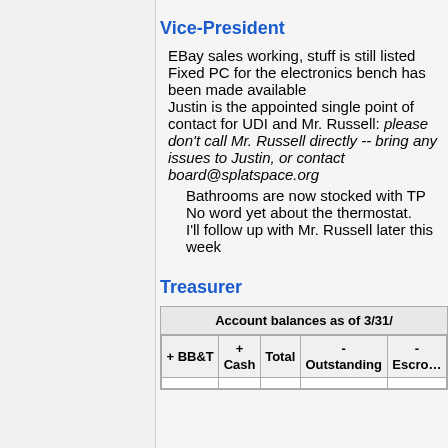Vice-President
EBay sales working, stuff is still listed
Fixed PC for the electronics bench has been made available
Justin is the appointed single point of contact for UDI and Mr. Russell: please don't call Mr. Russell directly -- bring any issues to Justin, or contact board@splatspace.org
Bathrooms are now stocked with TP
No word yet about the thermostat.
I'll follow up with Mr. Russell later this week
Treasurer
| + BB&T | + Cash | Total | - Outstanding | - Escrow |
| --- | --- | --- | --- | --- |